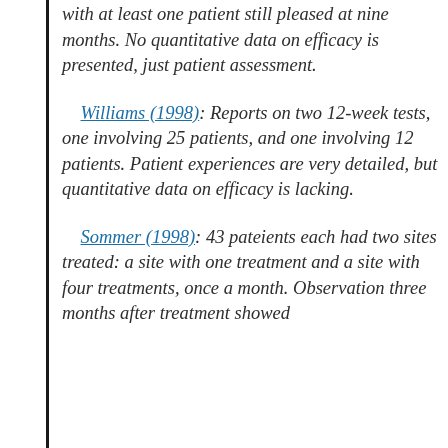with at least one patient still pleased at nine months. No quantitative data on efficacy is presented, just patient assessment.
Williams (1998): Reports on two 12-week tests, one involving 25 patients, and one involving 12 patients. Patient experiences are very detailed, but quantitative data on efficacy is lacking.
Sommer (1998): 43 pateients each had two sites treated: a site with one treatment and a site with four treatments, once a month. Observation three months after treatment showed